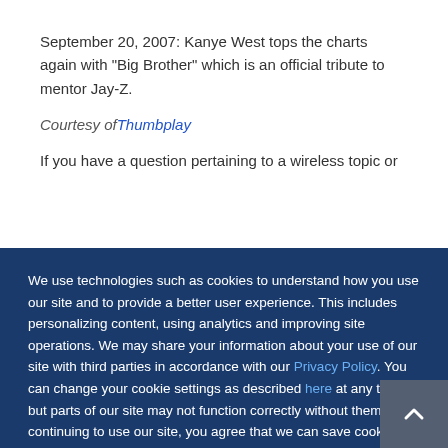September 20, 2007: Kanye West tops the charts again with "Big Brother" which is an official tribute to mentor Jay-Z.
Courtesy of Thumbplay
If you have a question pertaining to a wireless topic or
We use technologies such as cookies to understand how you use our site and to provide a better user experience. This includes personalizing content, using analytics and improving site operations. We may share your information about your use of our site with third parties in accordance with our Privacy Policy. You can change your cookie settings as described here at any time, but parts of our site may not function correctly without them. By continuing to use our site, you agree that we can save cookies on your device, unless you have disabled cookies.
I Accept